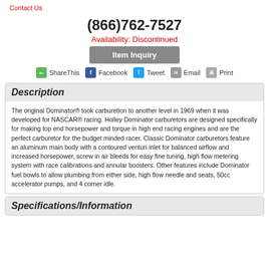Contact Us
(866)762-7527
Availability: Discontinued
Item Inquiry
ShareThis  Facebook  Tweet  Email  Print
Description
The original Dominator® took carburetion to another level in 1969 when it was developed for NASCAR® racing. Holley Dominator carburetors are designed specifically for making top end horsepower and torque in high end racing engines and are the perfect carburetor for the budget minded racer. Classic Dominator carburetors feature an aluminum main body with a contoured venturi inlet for balanced airflow and increased horsepower, screw in air bleeds for easy fine tuning, high flow metering system with race calibrations and annular boosters. Other features include Dominator fuel bowls to allow plumbing from either side, high flow needle and seats, 50cc accelerator pumps, and 4 corner idle.
Specifications/Information